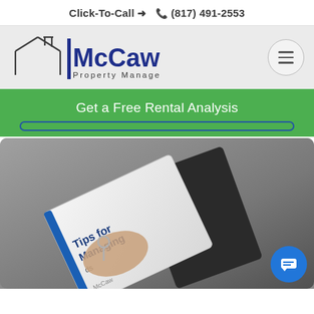Click-To-Call → 📞 (817) 491-2553
[Figure (logo): McCaw Property Management logo with house outline icon and blue text]
Get a Free Rental Analysis
[Figure (photo): Person holding keys and a book/brochure titled 'Tips for Managing' with McCaw branding, on a gray background. Blue chat button in lower right corner.]